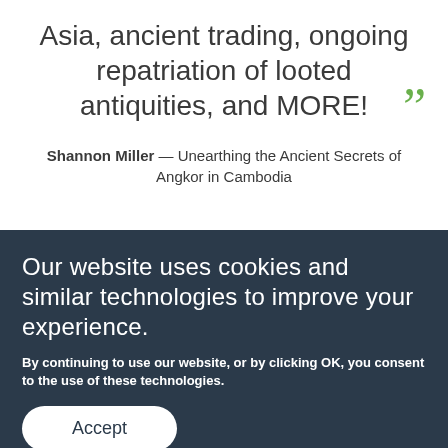Asia, ancient trading, ongoing repatriation of looted antiquities, and MORE!
Shannon Miller — Unearthing the Ancient Secrets of Angkor in Cambodia
Our website uses cookies and similar technologies to improve your experience.
By continuing to use our website, or by clicking OK, you consent to the use of these technologies.
Accept